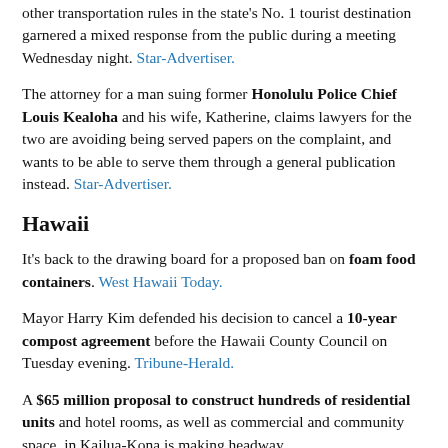other transportation rules in the state's No. 1 tourist destination garnered a mixed response from the public during a meeting Wednesday night. Star-Advertiser.
The attorney for a man suing former Honolulu Police Chief Louis Kealoha and his wife, Katherine, claims lawyers for the two are avoiding being served papers on the complaint, and wants to be able to serve them through a general publication instead. Star-Advertiser.
Hawaii
It's back to the drawing board for a proposed ban on foam food containers. West Hawaii Today.
Mayor Harry Kim defended his decision to cancel a 10-year compost agreement before the Hawaii County Council on Tuesday evening. Tribune-Herald.
A $65 million proposal to construct hundreds of residential units and hotel rooms, as well as commercial and community space, in Kailua-Kona is making headway.